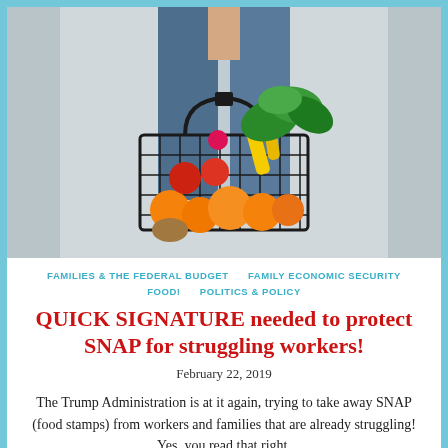[Figure (photo): Person in jeans holding a wire basket filled with fresh vegetables, fruits, and groceries including oranges, tomatoes, corn, and leafy greens against a light gray background.]
FAMILIES & THE FEDERAL BUDGET    FAMILY ECONOMIC SECURITY    FOOD!    POLITICS & POLICY
QUICK SIGNATURE needed to protect SNAP for struggling workers!
February 22, 2019
The Trump Administration is at it again, trying to take away SNAP (food stamps) from workers and families that are already struggling! Yes, you read that right.